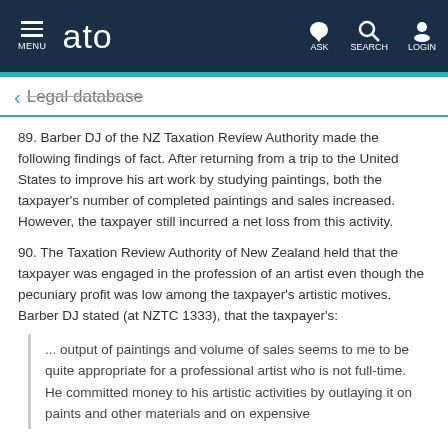ato — MENU / ASK / SEARCH / LOGIN
← Legal database
89. Barber DJ of the NZ Taxation Review Authority made the following findings of fact. After returning from a trip to the United States to improve his art work by studying paintings, both the taxpayer's number of completed paintings and sales increased. However, the taxpayer still incurred a net loss from this activity.
90. The Taxation Review Authority of New Zealand held that the taxpayer was engaged in the profession of an artist even though the pecuniary profit was low among the taxpayer's artistic motives. Barber DJ stated (at NZTC 1333), that the taxpayer's:
... output of paintings and volume of sales seems to me to be quite appropriate for a professional artist who is not full-time. He committed money to his artistic activities by outlaying it on paints and other materials and on expensive